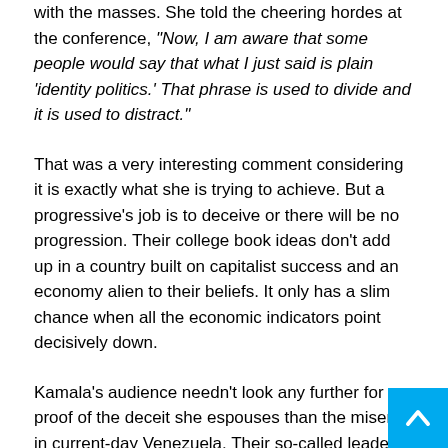with the masses. She told the cheering hordes at the conference, “Now, I am aware that some people would say that what I just said is plain ‘identity politics.’ That phrase is used to divide and it is used to distract.”
That was a very interesting comment considering it is exactly what she is trying to achieve. But a progressive’s job is to deceive or there will be no progression. Their college book ideas don’t add up in a country built on capitalist success and an economy alien to their beliefs. It only has a slim chance when all the economic indicators point decisively down.
Kamala's audience needn’t look any further for proof of the deceit she espouses than the misery in current-day Venezuela. Their so-called leaders made similar promises and the country is now in chaos on the verge of civil war. What once was an oil-rich country cannot even supply toilet paper now.